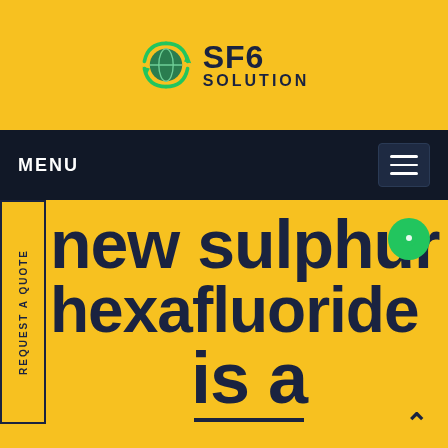[Figure (logo): SF6 Solution logo with green recycling arrows around a globe icon, text SF6 SOLUTION in dark navy]
MENU
REQUEST A QUOTE
new sulphur hexafluoride is a